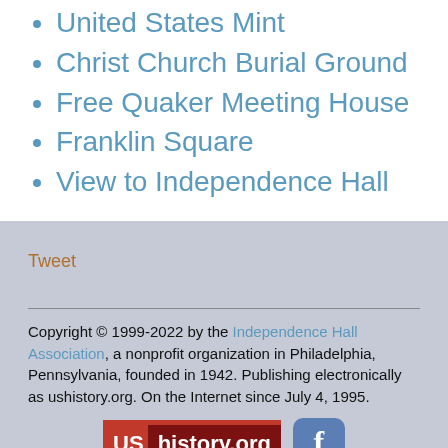United States Mint
Christ Church Burial Ground
Free Quaker Meeting House
Franklin Square
View to Independence Hall
Tweet
Copyright © 1999-2022 by the Independence Hall Association, a nonprofit organization in Philadelphia, Pennsylvania, founded in 1942. Publishing electronically as ushistory.org. On the Internet since July 4, 1995.
[Figure (logo): UShistory.org logo and Facebook logo]